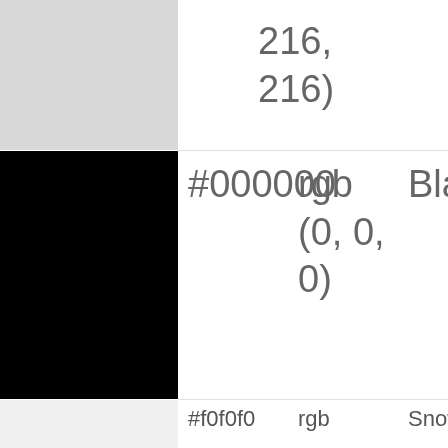| Color | Hex | RGB | Name |
| --- | --- | --- | --- |
| (silver swatch) |  | rgb(216, 216, 216) |  |
| (black swatch) | #000000 | rgb(0, 0, 0) | Black |
| (snowflake swatch) | #f0f0f0 | rgb(240, 240, 240) | Snowflake |
| (gypsy dancer swatch) | #c07878 | rgb(192, 120, 120) | Gypsy Dancer |